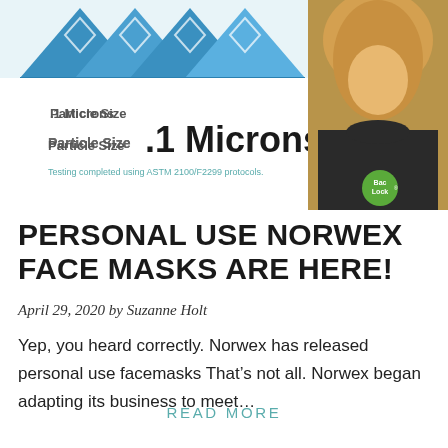[Figure (infographic): Blue mountain/diamond graphic with text 'Particle Size .1 Microns' and note 'Testing completed using ASTM 2100/F2299 protocols.' alongside a photo of a woman wearing a dark shirt with a BacLock badge]
PERSONAL USE NORWEX FACE MASKS ARE HERE!
April 29, 2020 by Suzanne Holt
Yep, you heard correctly. Norwex has released personal use facemasks That’s not all. Norwex began adapting its business to meet…
READ MORE